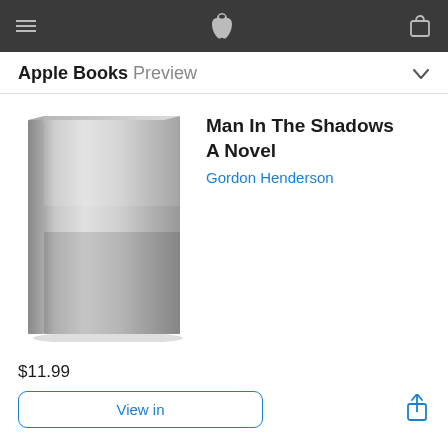Apple Books Preview
[Figure (illustration): Book cover placeholder — a gray gradient hardcover book with no text on the cover]
Man In The Shadows
A Novel
Gordon Henderson
$11.99
View in